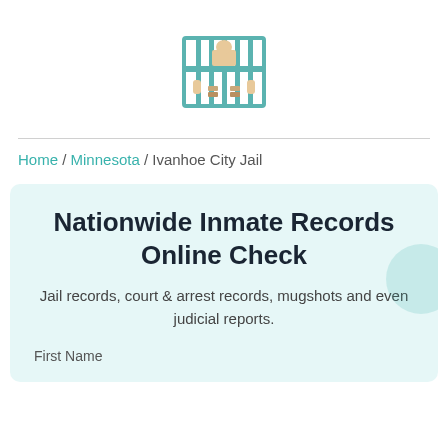[Figure (logo): Jail/prison bars icon with hands, colored with teal bars and tan/beige figure]
Home / Minnesota / Ivanhoe City Jail
Nationwide Inmate Records Online Check
Jail records, court & arrest records, mugshots and even judicial reports.
First Name